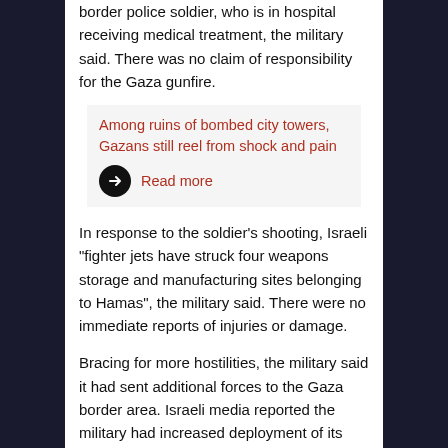border police soldier, who is in hospital receiving medical treatment, the military said. There was no claim of responsibility for the Gaza gunfire.
Among ruins of bombed city towers, Gazans still reel from shock and pain
Read more
In response to the soldier’s shooting, Israeli “fighter jets have struck four weapons storage and manufacturing sites belonging to Hamas”, the military said. There were no immediate reports of injuries or damage.
Bracing for more hostilities, the military said it had sent additional forces to the Gaza border area. Israeli media reported the military had increased deployment of its Iron Dome anti-missile system.
The violence follows an Israeli announcement of a resumption of Qatari aid to Gaza, a move seen as bolstering a fragile Egyptian-mediated truce to the May fighting. Just days before that announcement, Gaza